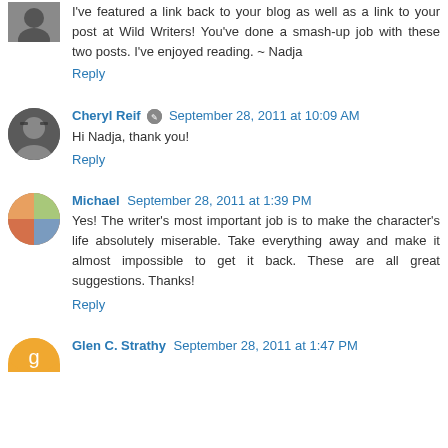I've featured a link back to your blog as well as a link to your post at Wild Writers! You've done a smash-up job with these two posts. I've enjoyed reading. ~ Nadja
Reply
Cheryl Reif  September 28, 2011 at 10:09 AM
Hi Nadja, thank you!
Reply
Michael  September 28, 2011 at 1:39 PM
Yes! The writer's most important job is to make the character's life absolutely miserable. Take everything away and make it almost impossible to get it back. These are all great suggestions. Thanks!
Reply
Glen C. Strathy  September 28, 2011 at 1:47 PM